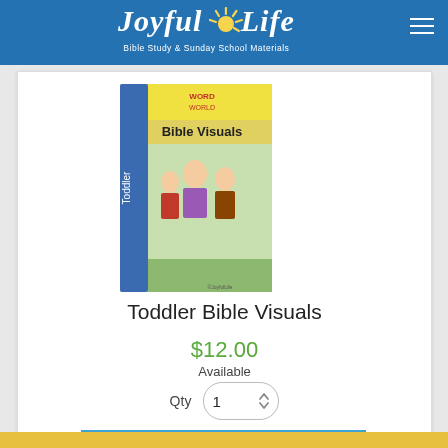Joyful Life — Bible Study & Sunday School Materials
[Figure (photo): Book cover of Toddler Bible Visuals — yellow cover with illustrated Bible characters and 'Toddler' written vertically on the spine]
Toddler Bible Visuals
$12.00
Available
Qty 1
ADD TO CART